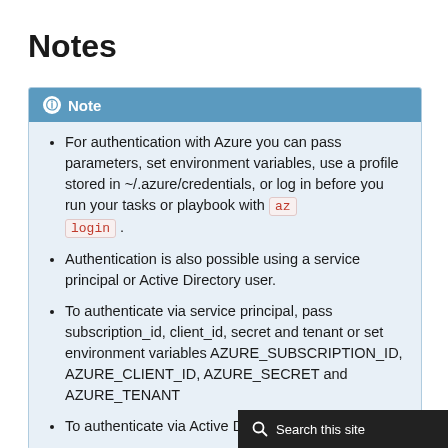Notes
Note
For authentication with Azure you can pass parameters, set environment variables, use a profile stored in ~/.azure/credentials, or log in before you run your tasks or playbook with az login .
Authentication is also possible using a service principal or Active Directory user.
To authenticate via service principal, pass subscription_id, client_id, secret and tenant or set environment variables AZURE_SUBSCRIPTION_ID, AZURE_CLIENT_ID, AZURE_SECRET and AZURE_TENANT
To authenticate via Active Directory user, pass